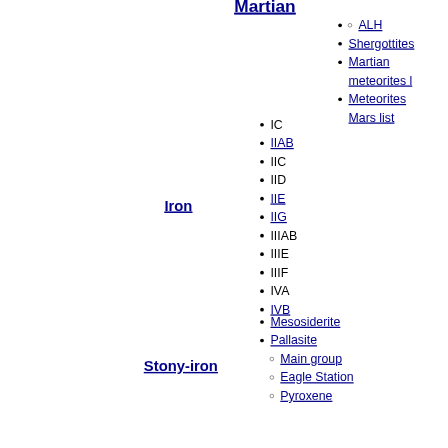Martian
ALH
Shergottites
Martian meteorites l
Meteorites Mars list
Iron
IC
IIAB
IIC
IID
IIE
IIG
IIIAB
IIIE
IIIF
IVA
IVB
Stony-iron
Mesosiderite
Pallasite
Main group
Eagle Station
Pyroxene